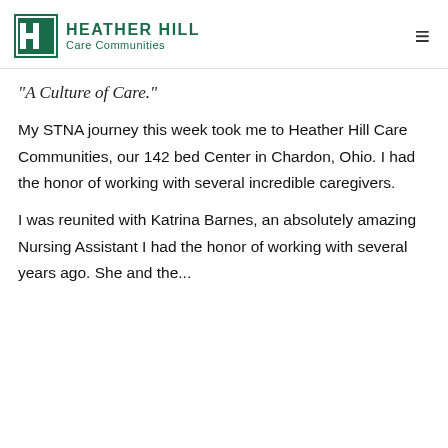HEATHER HILL Care Communities
"A Culture of Care."
My STNA journey this week took me to Heather Hill Care Communities, our 142 bed Center in Chardon, Ohio. I had the honor of working with several incredible caregivers.
I was reunited with Katrina Barnes, an absolutely amazing Nursing Assistant I had the honor of working with several years ago. She and the...